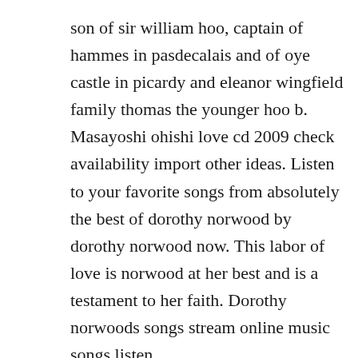son of sir william hoo, captain of hammes in pasdecalais and of oye castle in picardy and eleanor wingfield family thomas the younger hoo b. Masayoshi ohishi love cd 2009 check availability import other ideas. Listen to your favorite songs from absolutely the best of dorothy norwood by dorothy norwood now. This labor of love is norwood at her best and is a testament to her faith. Dorothy norwoods songs stream online music songs listen.
Dorothy norwood born may 29, 1935 is an american gospel singer and songwriter.